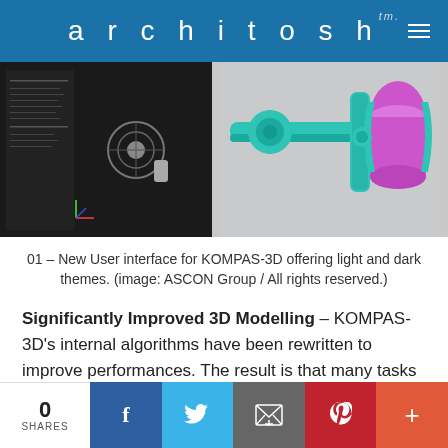architosh tm.
[Figure (photo): Left: dark-themed CAD interface showing a 3D part with tree/panel on the left. Right: teal/turquoise mechanical assembly with pink cylindrical component on grey background.]
01 – New User interface for KOMPAS-3D offering light and dark themes. (image: ASCON Group / All rights reserved.)
Significantly Improved 3D Modelling – KOMPAS-3D's internal algorithms have been rewritten to improve performances. The result is that many tasks are now accelerated, such as working with the…
0 SHARES | Facebook | Twitter | Email | Pinterest | +